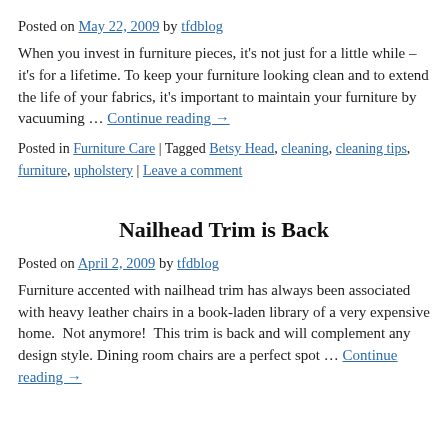Posted on May 22, 2009 by tfdblog
When you invest in furniture pieces, it's not just for a little while – it's for a lifetime. To keep your furniture looking clean and to extend the life of your fabrics, it's important to maintain your furniture by vacuuming … Continue reading →
Posted in Furniture Care | Tagged Betsy Head, cleaning, cleaning tips, furniture, upholstery | Leave a comment
Nailhead Trim is Back
Posted on April 2, 2009 by tfdblog
Furniture accented with nailhead trim has always been associated with heavy leather chairs in a book-laden library of a very expensive home.  Not anymore!  This trim is back and will complement any design style. Dining room chairs are a perfect spot … Continue reading →